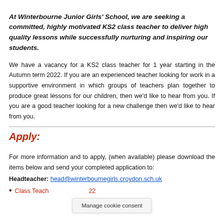At Winterbourne Junior Girls' School, we are seeking a committed, highly motivated KS2 class teacher to deliver high quality lessons while successfully nurturing and inspiring our students.
We have a vacancy for a KS2 class teacher for 1 year starting in the Autumn term 2022. If you are an experienced teacher looking for work in a supportive environment in which groups of teachers plan together to produce great lessons for our children, then we'd like to hear from you. If you are a good teacher looking for a new challenge then we'd like to hear from you.
Apply:
For more information and to apply, (when available) please download the items below and send your completed application to:
Headteacher: head@winterbournegirls.croydon.sch.uk
Class Teacher ... 22